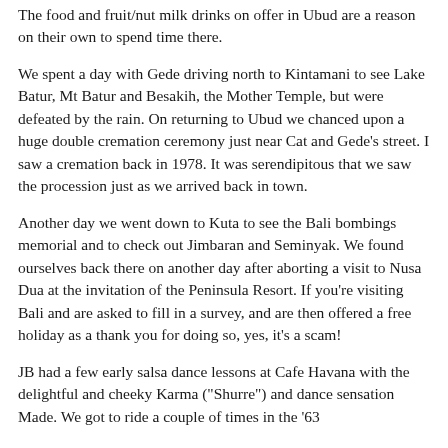The food and fruit/nut milk drinks on offer in Ubud are a reason on their own to spend time there.
We spent a day with Gede driving north to Kintamani to see Lake Batur, Mt Batur and Besakih, the Mother Temple, but were defeated by the rain. On returning to Ubud we chanced upon a huge double cremation ceremony just near Cat and Gede's street. I saw a cremation back in 1978. It was serendipitous that we saw the procession just as we arrived back in town.
Another day we went down to Kuta to see the Bali bombings memorial and to check out Jimbaran and Seminyak. We found ourselves back there on another day after aborting a visit to Nusa Dua at the invitation of the Peninsula Resort. If you're visiting Bali and are asked to fill in a survey, and are then offered a free holiday as a thank you for doing so, yes, it's a scam!
JB had a few early salsa dance lessons at Cafe Havana with the delightful and cheeky Karma ("Shurre") and dance sensation Made. We got to ride a couple of times in the '63